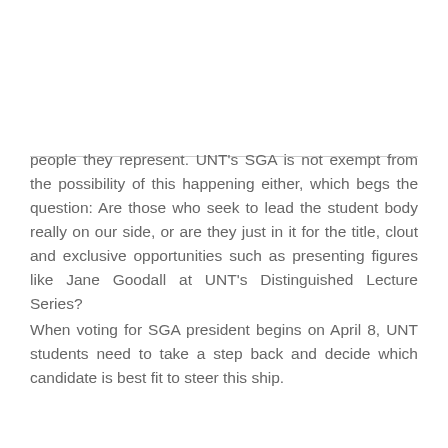people they represent. UNT's SGA is not exempt from the possibility of this happening either, which begs the question: Are those who seek to lead the student body really on our side, or are they just in it for the title, clout and exclusive opportunities such as presenting figures like Jane Goodall at UNT's Distinguished Lecture Series?
When voting for SGA president begins on April 8, UNT students need to take a step back and decide which candidate is best fit to steer this ship.